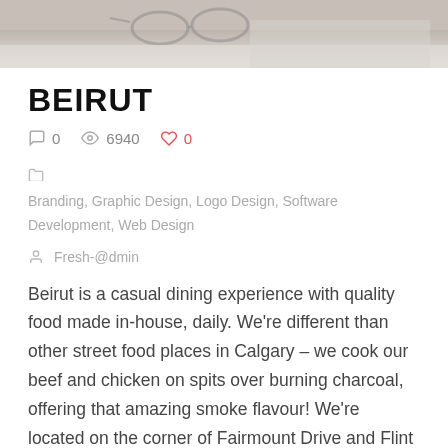[Figure (photo): Top portion of a photo showing a desk surface with glasses and papers, partially visible]
BEIRUT
0  6940  0
Branding, Graphic Design, Logo Design, Software Development, Web Design
Fresh-@dmin
Beirut is a casual dining experience with quality food made in-house, daily. We're different than other street food places in Calgary – we cook our beef and chicken on spits over burning charcoal, offering that amazing smoke flavour! We're located on the corner of Fairmount Drive and Flint Road, across from Mr. Volvo. Our spits are turning all day long, so stop by and enjoy our authentic Lebanese food selection in